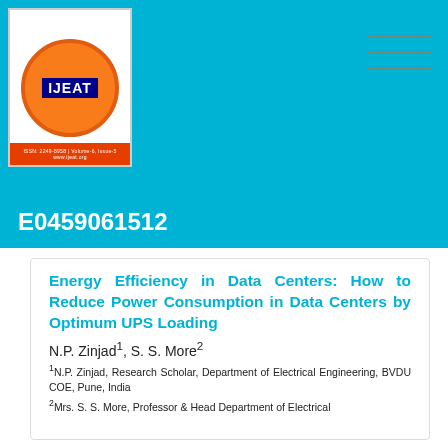[Figure (logo): IJEAT journal logo with circular orange emblem and blue IJEAT text badge, red bottom bar with publication details]
E0459061512
Energy Efficiency in Data Centers: How to Reduce Power Consumption in Data Centers by Optimum UPS Loading
N.P. Zinjad1, S. S. More2
1N.P. Zinjad, Research Scholar, Department of Electrical Engineering, BVDU COE, Pune, India
2Mrs. S. S. More, Professor & Head Department of Electrical